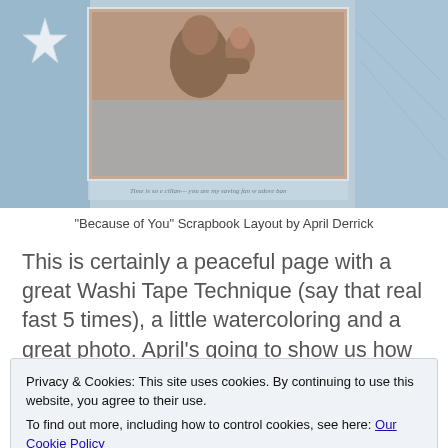[Figure (photo): Scrapbook layout showing a person holding a baby, with decorative blue/teal background, a star embellishment, and handwritten text at the bottom. Blue watercolor washi tape style borders.]
"Because of You" Scrapbook Layout by April Derrick
This is certainly a peaceful page with a great Washi Tape Technique (say that real fast 5 times), a little watercoloring and a great photo. April's going to show us how she did it! keep reading....
First, your supply list:
Privacy & Cookies: This site uses cookies. By continuing to use this website, you agree to their use.
To find out more, including how to control cookies, see here: Our Cookie Policy
Close and accept